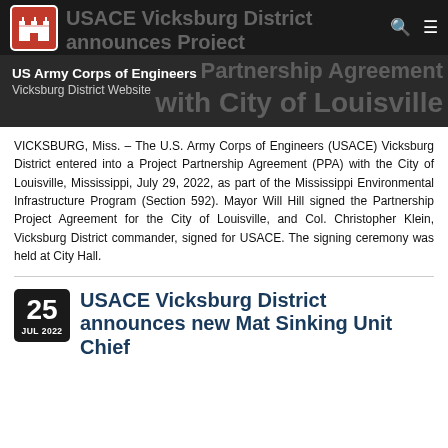[Figure (logo): US Army Corps of Engineers castle logo in red box]
USACE Vicksburg District announces Project Partnership Agreement with City of Louisville
US Army Corps of Engineers
Vicksburg District Website
VICKSBURG, Miss. – The U.S. Army Corps of Engineers (USACE) Vicksburg District entered into a Project Partnership Agreement (PPA) with the City of Louisville, Mississippi, July 29, 2022, as part of the Mississippi Environmental Infrastructure Program (Section 592). Mayor Will Hill signed the Partnership Project Agreement for the City of Louisville, and Col. Christopher Klein, Vicksburg District commander, signed for USACE. The signing ceremony was held at City Hall.
USACE Vicksburg District announces new Mat Sinking Unit Chief
25 JUL 2022